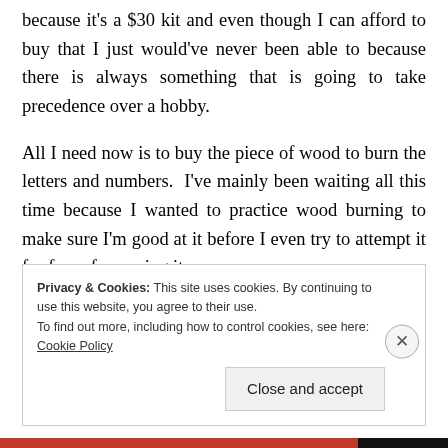because it's a $30 kit and even though I can afford to buy that I just would've never been able to because there is always something that is going to take precedence over a hobby.
All I need now is to buy the piece of wood to burn the letters and numbers.  I've mainly been waiting all this time because I wanted to practice wood burning to make sure I'm good at it before I even try to attempt it for fear of screwing it up.
Privacy & Cookies: This site uses cookies. By continuing to use this website, you agree to their use.
To find out more, including how to control cookies, see here: Cookie Policy
Close and accept